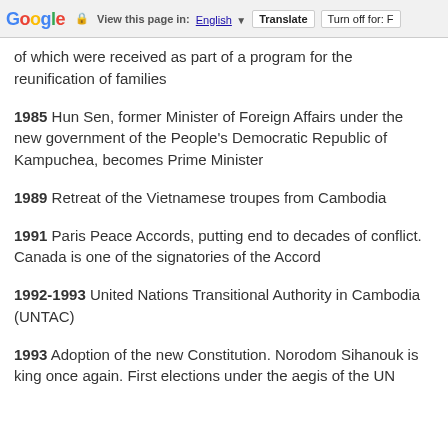Google  View this page in: English [▼]  Translate  Turn off for: F
of which were received as part of a program for the reunification of families
1985 Hun Sen, former Minister of Foreign Affairs under the new government of the People's Democratic Republic of Kampuchea, becomes Prime Minister
1989 Retreat of the Vietnamese troupes from Cambodia
1991 Paris Peace Accords, putting end to decades of conflict. Canada is one of the signatories of the Accord
1992-1993 United Nations Transitional Authority in Cambodia (UNTAC)
1993 Adoption of the new Constitution. Norodom Sihanouk is king once again. First elections under the aegis of the UN